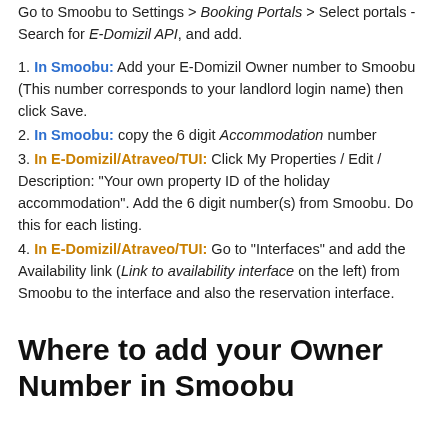Go to Smoobu to Settings > Booking Portals > Select portals - Search for E-Domizil API, and add.
1. In Smoobu: Add your E-Domizil Owner number to Smoobu (This number corresponds to your landlord login name) then click Save.
2. In Smoobu: copy the 6 digit Accommodation number
3. In E-Domizil/Atraveo/TUI: Click My Properties / Edit / Description: "Your own property ID of the holiday accommodation". Add the 6 digit number(s) from Smoobu. Do this for each listing.
4. In E-Domizil/Atraveo/TUI: Go to "Interfaces" and add the Availability link (Link to availability interface on the left) from Smoobu to the interface and also the reservation interface.
Where to add your Owner Number in Smoobu